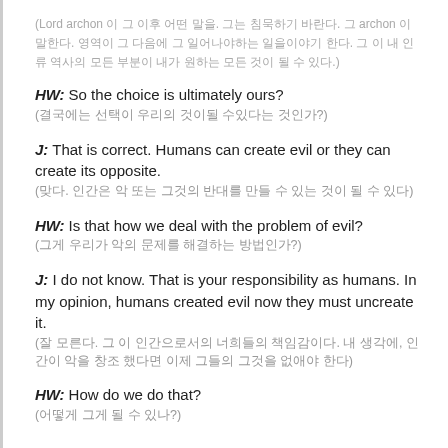(Lord archon 이 그 이후 어떤 말을. 그는 침묵하기 바란다. 그 archon 이 말한다. 영역이 그 다음에 그 일어나야하는 일을이야기 한다. 그 이 내 인류 역사의 모든 부분이 내가 원하는 모든 것이 될 수 있다.)
HW: So the choice is ultimately ours?
(결국에는 선택이 우리의 것이될 수있다는 것인가?)
J: That is correct. Humans can create evil or they can create its opposite.
(맞다. 인간은 악 또는 그것의 반대를 만들 수 있는 것이 될 수 있다)
HW: Is that how we deal with the problem of evil?
(그게 우리가 악의 문제를 해결하는 방법인가?)
J: I do not know. That is your responsibility as humans. In my opinion, humans created evil now they must uncreate it.
(잘 모른다. 그 이 인간으로서의 너희들의 책임감이다. 내 생각에, 인간이 악을 창조 했다면 이제 그들의 그것을 없애야 한다)
HW: How do we do that?
(어떻게 그게 될 수 있나?)